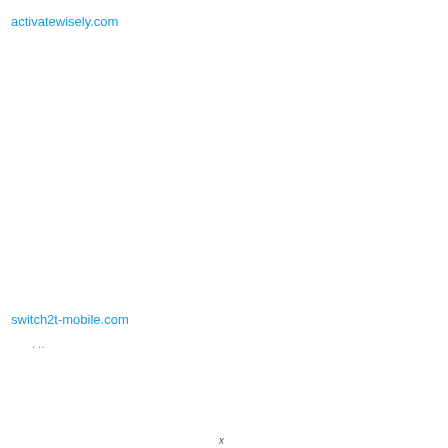activatewisely.com
switch2t-mobile.com
. ..
x